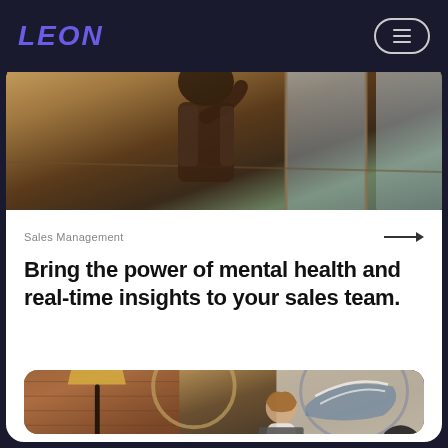LEON
[Figure (photo): Man in dark blazer sitting near large windows, resting hand on head, looking contemplative. Warm outdoor light in background.]
Sales Management
Bring the power of mental health and real-time insights to your sales team.
[Figure (photo): Woman with long hair wearing glasses and a white sweater, working on a laptop at a table. Brick wall background with large painting of sneakers. Lamp on left side.]